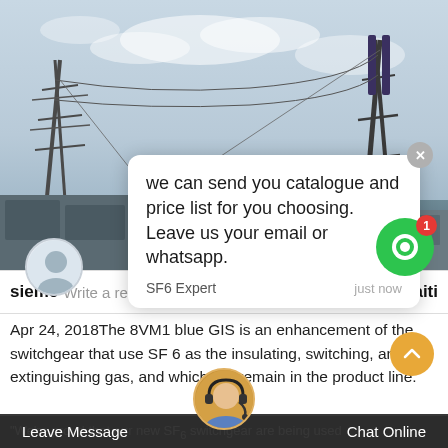[Figure (photo): Electrical substation/switchgear infrastructure with high-voltage towers and equipment against a cloudy sky]
we can send you catalogue and price list for you choosing.
Leave us your email or whatsapp.
SF6 Expert    just now
sieme   Write a reply..   aiti
Apr 24, 2018The 8VM1 blue GIS is an enhancement of the switchgear that use SF 6 as the insulating, switching, and extinguishing gas, and which will remain in the product line.
"We're proud that our new SF6 switchgear are being used successfully in the Nissum Bredning Vind wind farm," said
Leave Message    Chat Online